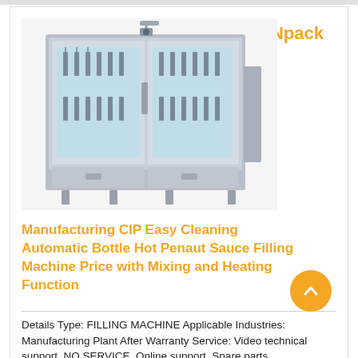[Figure (photo): Industrial bottle filling machine with stainless steel cabinet, two glass-panel doors showing internal filling heads and tubing, small camera/sensor on top]
Npack
Manufacturing CIP Easy Cleaning Automatic Bottle Hot Penaut Sauce Filling Machine Price with Mixing and Heating Function
Details Type: FILLING MACHINE Applicable Industries: Manufacturing Plant After Warranty Service: Video technical support, NO SERVICE, Online support, Spare parts,